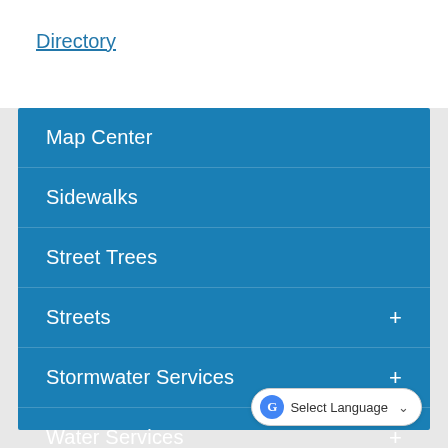Directory
Map Center
Sidewalks
Street Trees
Streets +
Stormwater Services +
Water Services +
Select Language